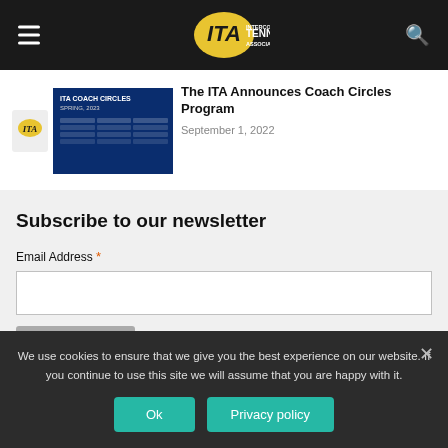ITA - Intercollegiate Tennis Association
The ITA Announces Coach Circles Program
September 1, 2022
Subscribe to our newsletter
Email Address *
Subscribe
We use cookies to ensure that we give you the best experience on our website. If you continue to use this site we will assume that you are happy with it.
Ok
Privacy policy